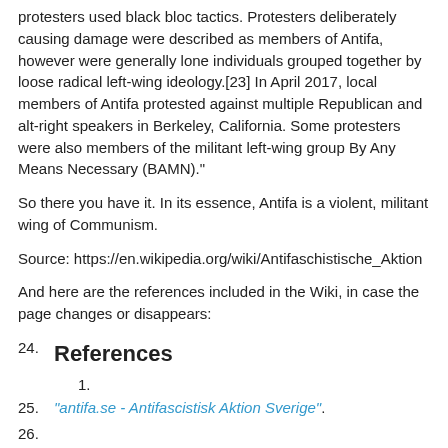protesters used black bloc tactics. Protesters deliberately causing damage were described as members of Antifa, however were generally lone individuals grouped together by loose radical left-wing ideology.[23] In April 2017, local members of Antifa protested against multiple Republican and alt-right speakers in Berkeley, California. Some protesters were also members of the militant left-wing group By Any Means Necessary (BAMN)."
So there you have it. In its essence, Antifa is a violent, militant wing of Communism.
Source: https://en.wikipedia.org/wiki/Antifaschistische_Aktion
And here are the references included in the Wiki, in case the page changes or disappears:
24. References
1.
25. "antifa.se - Antifascistisk Aktion Sverige".
26.